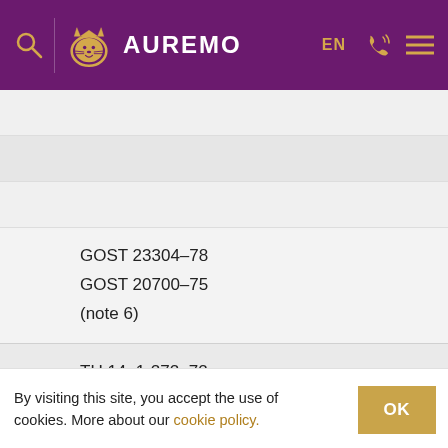AUREMO — EN
GOST 23304–78
GOST 20700–75
(note 6)
TU 14–1-272–72
TU 108.11.853–87
By visiting this site, you accept the use of cookies. More about our cookie policy.